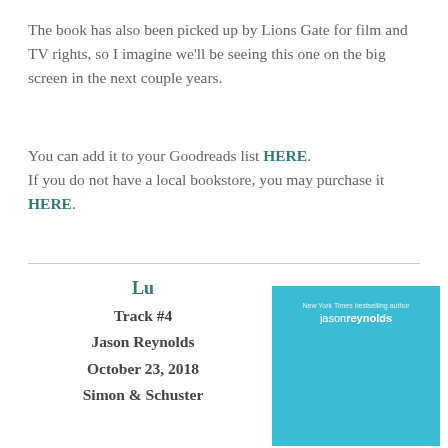The book has also been picked up by Lions Gate for film and TV rights, so I imagine we'll be seeing this one on the big screen in the next couple years.
You can add it to your Goodreads list HERE. If you do not have a local bookstore, you may purchase it HERE.
Lu
Track #4
Jason Reynolds
October 23, 2018
Simon & Schuster
[Figure (illustration): Book cover of 'Lu' by Jason Reynolds — solid bright blue/cyan cover with author name 'jasonreynolds' in small text at the top]